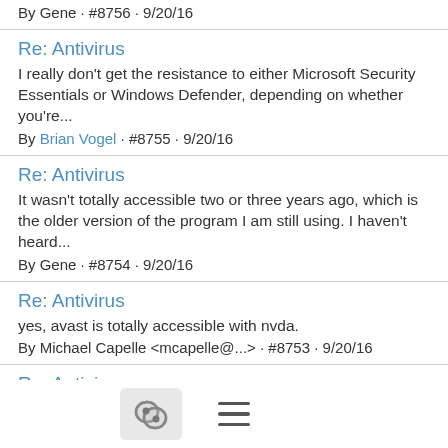By Gene · #8756 · 9/20/16
Re: Antivirus
I really don't get the resistance to either Microsoft Security Essentials or Windows Defender, depending on whether you're...
By Brian Vogel · #8755 · 9/20/16
Re: Antivirus
It wasn't totally accessible two or three years ago, which is the older version of the program I am still using. I haven't heard...
By Gene · #8754 · 9/20/16
Re: Antivirus
yes, avast is totally accessible with nvda.
By Michael Capelle <mcapelle@...> · #8753 · 9/20/16
Re: Antivirus
Avast is more or less usable with Jaws, not NVDA. Best. Angela from Italy --- Questa e-mail è stata controllata per individuare...
By Angela Delicata · #8752 · 9/20/16